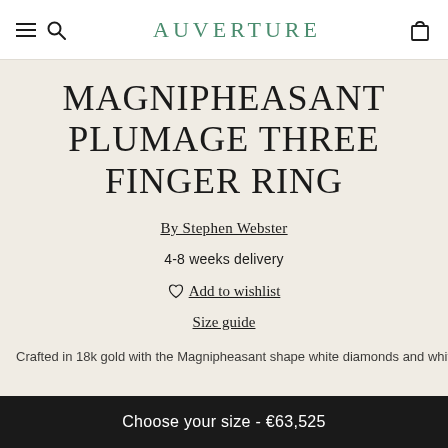AUVERTURE
MAGNIPHEASANT PLUMAGE THREE FINGER RING
By Stephen Webster
4-8 weeks delivery
♡ Add to wishlist
Size guide
Crafted in 18k gold with the Magnipheasant shape white diamonds and white diamond pavé
Choose your size - €63,525